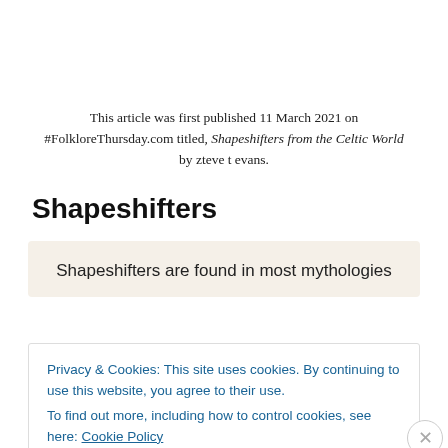This article was first published 11 March 2021 on #FolkloreThursday.com titled, Shapeshifters from the Celtic World by zteve t evans.
Shapeshifters
Shapeshifters are found in most mythologies
Privacy & Cookies: This site uses cookies. By continuing to use this website, you agree to their use.
To find out more, including how to control cookies, see here: Cookie Policy
Close and accept